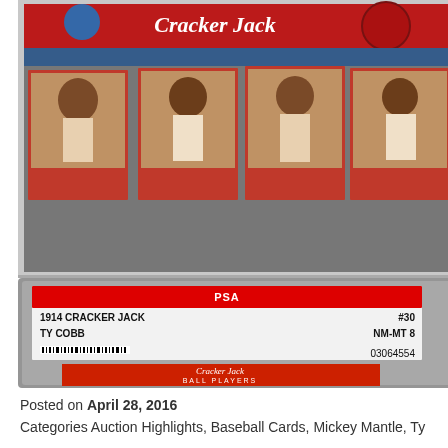[Figure (photo): Two baseball card photos: top image shows a group of 1914 Cracker Jack baseball cards spread out including multiple player cards with red borders. Bottom image shows a PSA-graded 1914 Cracker Jack #30 Ty Cobb card rated NM-MT 8 (cert 03064554) in a plastic holder, showing Ty Cobb holding a bat on a red background with 'Cracker Jack Ball Players' text and 'COBB, Detroit - Americans' caption.]
Posted on April 28, 2016
Categories Auction Highlights, Baseball Cards, Mickey Mantle, Ty